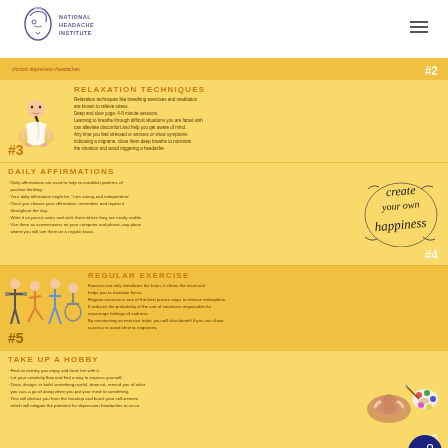[Figure (logo): National Headache Institute logo with stylized face profile]
RELAXATION TECHNIQUES
Relaxation techniques like breathing exercises and meditation are known to relieve stress. Deep and slow yoga: 4-8 minute sessions. Learning to breathe through difficult situations you are faced with can alleviate discomfort and help you get aware of mind. Any time you feel stressed or anxious or show symptoms indicating a migraine, close them deep breaths to minimize the situation and avoid triggering a headache.
DAILY AFFIRMATIONS
Daily affirmations are used to help re-establish patterns of positive thinking. Your daily affirmation might be: 'I am strong and independent'. Once you choose your affirmation, remember and repeat it throughout the day. Write it on post-it notes and stick them where they are easily visible. Use them as screensavers on your computer and phone–any place where you will see them on a regular basis.
REGULAR EXERCISE
Exercise not only stimulates the brain, it clears the mind and helps you to maintain focus. Regular exercise is one of the best proven ways to release endorphins. It reduces the probability of the sort of situations responsible for encourage feelings of sadness. By maintaining an exercise habit, you will also benefit if you can show success to avoid chronic migraines.
TAKE UP A HOBBY
Find an activity you enjoy and have fun with it. Let your creativity flow and find a way to express yourself. Draw, design, or build something useful, draw art, explore you of what you can–a go of doing when you put your mind to something. This will distract you from the breakup and boost your self-esteem which will mitigate the potential for depression headaches to occur.
MAINTAIN A NORMAL ROUTINE
Stick to your normal routine. In the end you may or may feel less pain. Stick to the same time you typically would still the regular habit of activities through the session. Start with these measures that the breakdown doesn't get you down and monitoring in the sessions so that you start the healing process to make peace and settle.